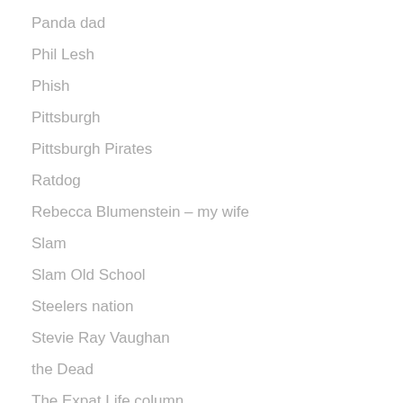Panda dad
Phil Lesh
Phish
Pittsburgh
Pittsburgh Pirates
Ratdog
Rebecca Blumenstein – my wife
Slam
Slam Old School
Steelers nation
Stevie Ray Vaughan
the Dead
The Expat Life column
The Grateful Dead
The Great Wall
Tiger Mom
Tom Dowd